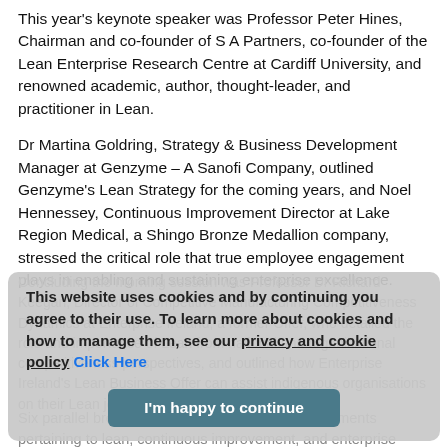This year's keynote speaker was Professor Peter Hines, Chairman and co-founder of S A Partners, co-founder of the Lean Enterprise Research Centre at Cardiff University, and renowned academic, author, thought-leader, and practitioner in Lean.
Dr Martina Goldring, Strategy & Business Development Manager at Genzyme – A Sanofi Company, outlined Genzyme's Lean Strategy for the coming years, and Noel Hennessey, Continuous Improvement Director at Lake Region Medical, a Shingo Bronze Medallion company, stressed the critical role that true employee engagement plays in enabling and sustaining enterprise excellence.
Concluding the morning session was Professor Dr Richard Keegan, Director of Competitive Manufacturing Competitiveness Dynamics at Enterprise Ireland, a former Offer, who detailed the role and importance of Lean from national and organisational competitiveness perspectives, and outlined how Enterprise Ireland's Lean Business Offer can assist indigenous organisations on their Lean journeys.
This website uses cookies and by continuing you agree to their use. To learn more about cookies and how to manage them, see our privacy and cookie policy Click Here
I'm happy to continue
Six parallel breakout sessions followed on key elements pertaining to lean, continuous improvement, and enterprise